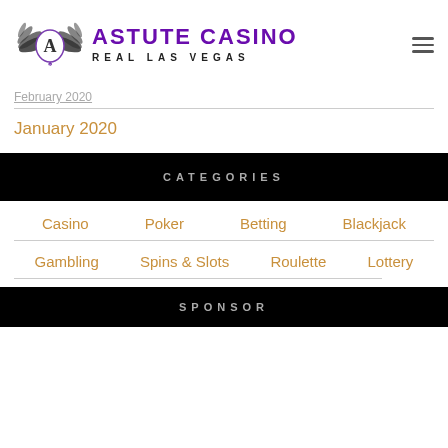[Figure (logo): Astute Casino logo with wings, ace card symbol, purple text 'ASTUTE CASINO' and subtitle 'REAL LAS VEGAS']
February 2020
January 2020
CATEGORIES
Casino
Poker
Betting
Blackjack
Gambling
Spins & Slots
Roulette
Lottery
SPONSOR